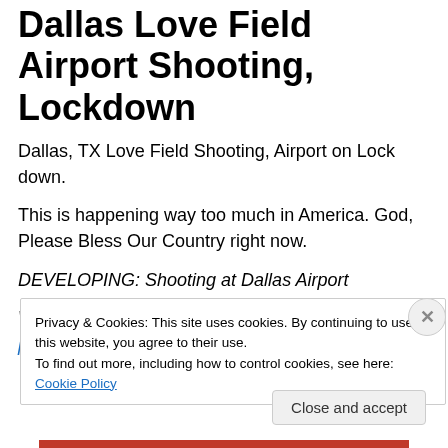Dallas Love Field Airport Shooting, Lockdown
Dallas, TX Love Field Shooting, Airport on Lock down.
This is happening way too much in America. God, Please Bless Our Country right now.
DEVELOPING: Shooting at Dallas Airport
What We Know >> https://t.co/sZIa2HGpQK pic.twitter.com/T7CpvegMGA
Privacy & Cookies: This site uses cookies. By continuing to use this website, you agree to their use. To find out more, including how to control cookies, see here: Cookie Policy